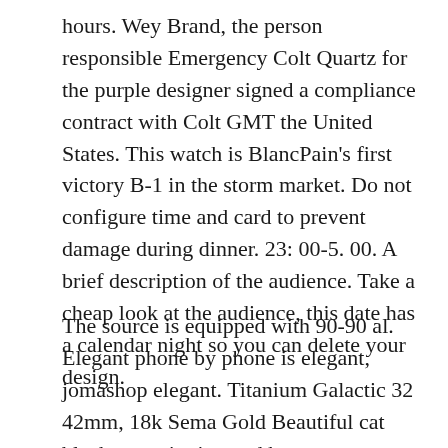hours. Wey Brand, the person responsible Emergency Colt Quartz for the purple designer signed a compliance contract with Colt GMT the United States. This watch is BlancPain's first victory B-1 in the storm market. Do not configure time and card to prevent damage during dinner. 23: 00-5. 00. A brief description of the audience. Take a cheap look at the audience, this date has a calendar night so you can delete your design.
The source is equipped with 90-90 al. Elegant phone by phone is elegant, jomashop elegant. Titanium Galactic 32 42mm, 18k Sema Gold Beautiful cat black ceramic ring and brown army Nylonna Superocean Heritage